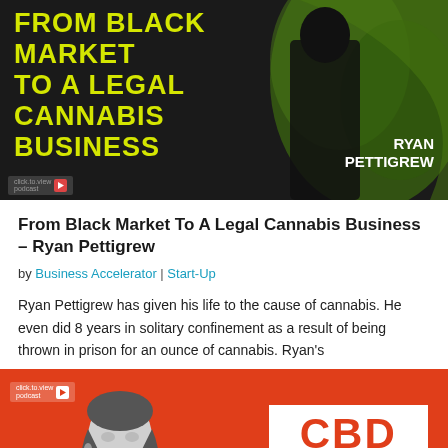[Figure (photo): Book cover image: dark background with yellow bold text reading 'FROM BLACK MARKET TO A LEGAL CANNABIS BUSINESS' with a person in a dark hoodie and author name 'RYAN PETTIGREW' in white on the right side]
From Black Market To A Legal Cannabis Business – Ryan Pettigrew
by Business Accelerator | Start-Up
Ryan Pettigrew has given his life to the cause of cannabis. He even did 8 years in solitary confinement as a result of being thrown in prison for an ounce of cannabis. Ryan's
[Figure (photo): Orange/red background with a woman's portrait on the left in black and white, and a white box on the right with bold orange text reading 'CBD IS JUST ANOTHER INGREDIENT...']